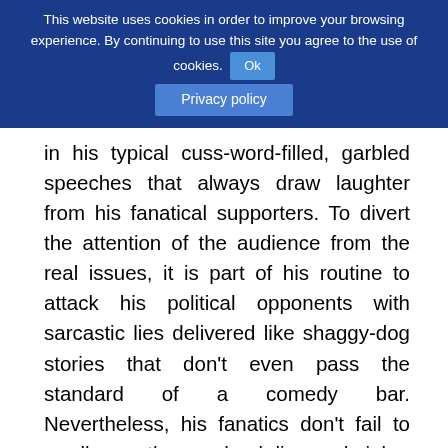This website uses cookies in order to improve your browsing experience. By continuing to use this site you agree to the use of cookies. Ok
Privacy policy
in his typical cuss-word-filled, garbled speeches that always draw laughter from his fanatical supporters. To divert the attention of the audience from the real issues, it is part of his routine to attack his political opponents with sarcastic lies delivered like shaggy-dog stories that don't even pass the standard of a comedy bar. Nevertheless, his fanatics don't fail to swallow them hook-line-and-sinker topped with hearty laughter and rounds of applause.
Job contractualization is alive and kicking. It has, in fact, been stronger than before, as big-time